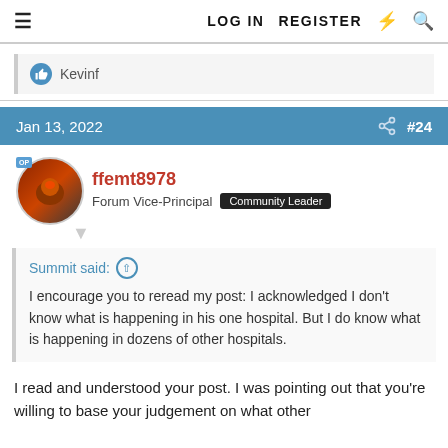≡   LOG IN   REGISTER   ⚡   🔍
👍 Kevinf
Jan 13, 2022   #24
ffemt8978
Forum Vice-Principal   Community Leader
Summit said: ↑

I encourage you to reread my post: I acknowledged I don't know what is happening in his one hospital. But I do know what is happening in dozens of other hospitals.
I read and understood your post. I was pointing out that you're willing to base your judgement on what other